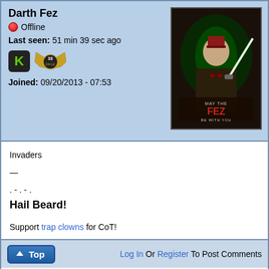Darth Fez
🔴 Offline
Last seen: 51 min 39 sec ago
[Figure (logo): K badge (green K on black) and wing rank badge with 33 and 04-12]
Joined: 09/20/2013 - 07:53
[Figure (illustration): Sci-fi/Doctor Who parody image: man in suit holding lightsaber wearing a fez, text reads MAY THE FEZ BE WITH YOU]
Invaders
—
. - . - .
Hail Beard!
Support trap clowns for CoT!
↑ Top   Log In Or Register To Post Comments